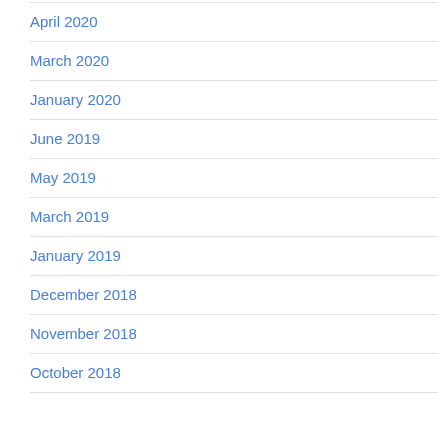April 2020
March 2020
January 2020
June 2019
May 2019
March 2019
January 2019
December 2018
November 2018
October 2018